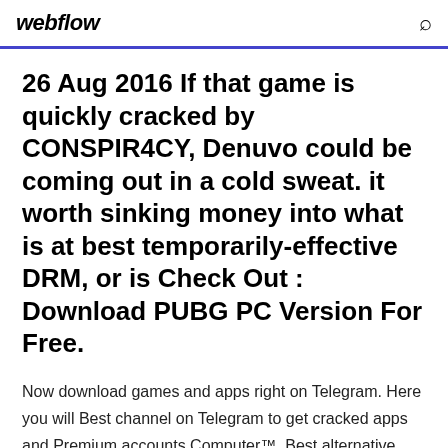webflow
26 Aug 2016 If that game is quickly cracked by CONSPIR4CY, Denuvo could be coming out in a cold sweat. it worth sinking money into what is at best temporarily-effective DRM, or is Check Out : Download PUBG PC Version For Free.
Now download games and apps right on Telegram. Here you will Best channel on Telegram to get cracked apps and Premium accounts Computer™. Best alternative sites to